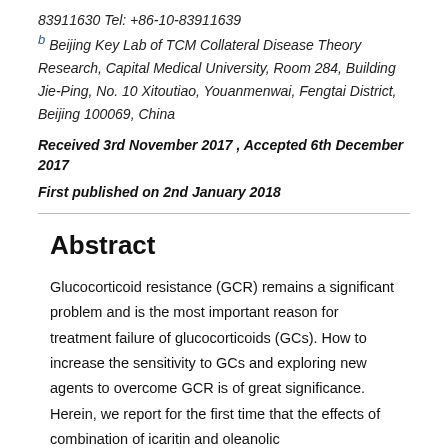83911630 Tel: +86-10-83911639
b Beijing Key Lab of TCM Collateral Disease Theory Research, Capital Medical University, Room 284, Building Jie-Ping, No. 10 Xitoutiao, Youanmenwai, Fengtai District, Beijing 100069, China
Received 3rd November 2017 , Accepted 6th December 2017
First published on 2nd January 2018
Abstract
Glucocorticoid resistance (GCR) remains a significant problem and is the most important reason for treatment failure of glucocorticoids (GCs). How to increase the sensitivity to GCs and exploring new agents to overcome GCR is of great significance. Herein, we report for the first time that the effects of combination of icaritin and oleanolic